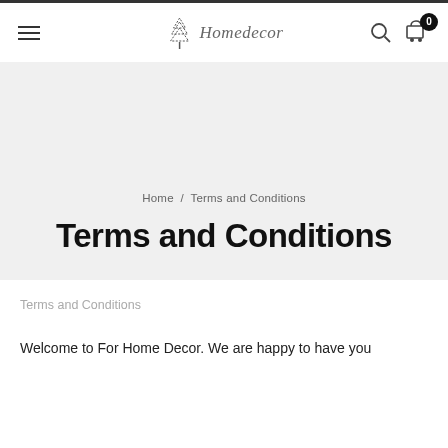Homedecor — navigation bar with hamburger menu, logo, search icon, and cart (0)
Home / Terms and Conditions
Terms and Conditions
Terms and Conditions
Welcome to For Home Decor. We are happy to have you